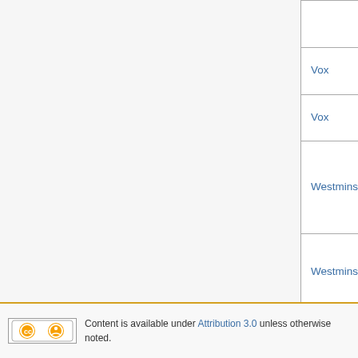| Label | Value |
| --- | --- |
|  | XTV20380), PL84... |
| Vox | labeled AES |
| Vox | 1951 - Oct 1954 |
| Westminster | 1948 - Oct 1955, t... matrix XTV20383 ... take nos. |
| Westminster | labeled AES; to ma... E2KP 9607 |
| Westminster | labeled NARTB |
| Westminster | EO matrix |
For Remarks and Sources please see Remarks below Table 2.
Category:  User Work in Progress
Content is available under Attribution 3.0 unless otherwise noted.